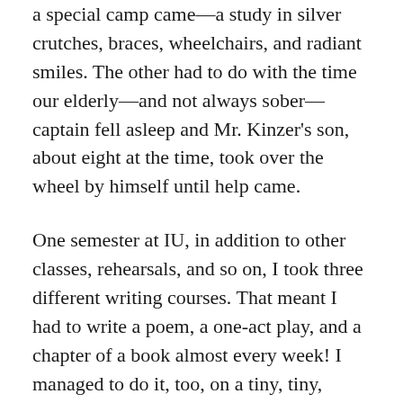a special camp came—a study in silver crutches, braces, wheelchairs, and radiant smiles. The other had to do with the time our elderly—and not always sober—captain fell asleep and Mr. Kinzer's son, about eight at the time, took over the wheel by himself until help came.
One semester at IU, in addition to other classes, rehearsals, and so on, I took three different writing courses. That meant I had to write a poem, a one-act play, and a chapter of a book almost every week! I managed to do it, too, on a tiny, tiny, nonelectric Olivetti portable typewriter.